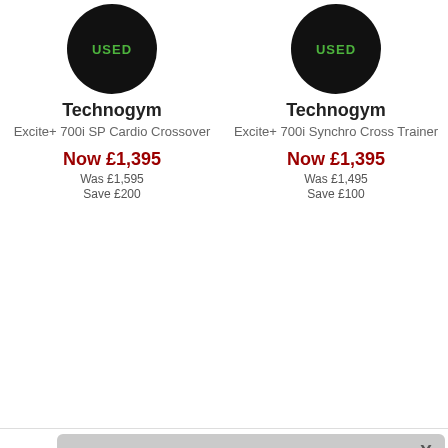[Figure (screenshot): Product listing page showing used Technogym fitness equipment with USED badges, prices, and a cookie consent overlay]
Technogym
Excite+ 700i SP Cardio Crossover
Now £1,395
Was £1,595
Save £200
Technogym
Excite+ 700i Synchro Cross Trainer
Now £1,395
Was £1,495
Save £100
This site uses cookies to provide and improve your shopping experience. If you want to benefit from this improved service, please opt-in. Cookies Page.
I opt-in to a better browsing experience
Accept Cookies
Technog
Excite+ 700i Vario Cross
Vario Excite 700e Visio